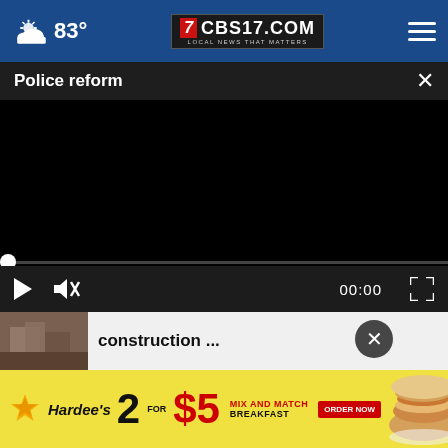83° CBS17.COM LOCAL NEWS THAT MATTERS
Police reform
[Figure (screenshot): Black video player screen with playback controls: play button, mute icon, 00:00 timestamp, fullscreen icon, and progress bar with white dot at start]
construction ...
[Figure (screenshot): Thumbnail of construction/demolition scene with play button overlay]
wn
[Figure (advertisement): Hardee's advertisement: 2 for $5 Mix and Match Breakfast with ORDER NOW button and food photo]